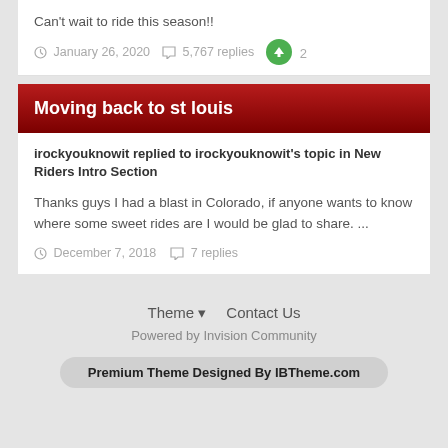Can't wait to ride this season!!
January 26, 2020   5,767 replies   2
Moving back to st louis
irockyouknowit replied to irockyouknowit's topic in New Riders Intro Section
Thanks guys I had a blast in Colorado, if anyone wants to know where some sweet rides are I would be glad to share. ...
December 7, 2018   7 replies
Theme ▼   Contact Us
Powered by Invision Community
Premium Theme Designed By IBTheme.com